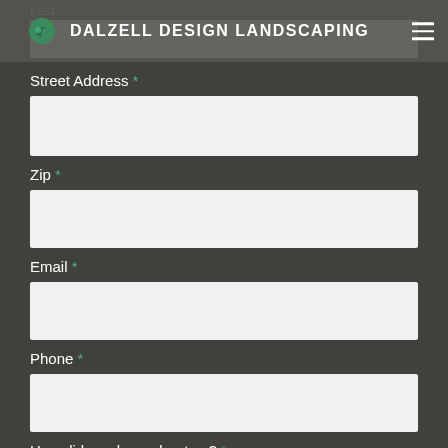DALZELL DESIGN LANDSCAPING
Last *
Street Address *
Zip *
Email *
Phone *
How did you hear about us? *